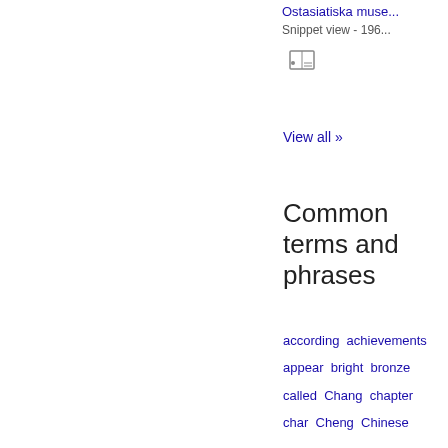Ostasiatiska muse... Snippet view - 196...
View all »
Common terms and phrases
according achievements appear bright bronze called Chang chapter char Cheng Chinese Chou Chou Kung collection common continue correct dare dated decoration defines dragons early Emperor evidently fact figures